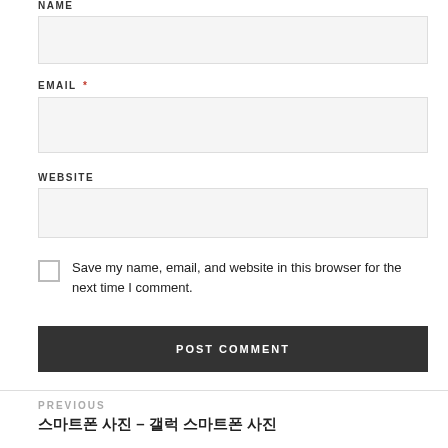NAME
EMAIL *
WEBSITE
Save my name, email, and website in this browser for the next time I comment.
POST COMMENT
PREVIOUS
□□□ □□ – □□ □□□□ □□